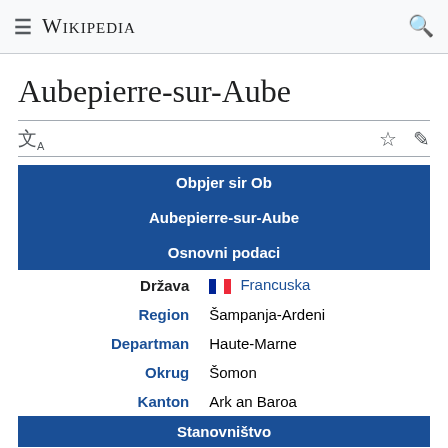≡ WIKIPEDIA 🔍
Aubepierre-sur-Aube
| Obpjer sir Ob |
| Aubepierre-sur-Aube |
| Osnovni podaci |
| Država | 🇫🇷 Francuska |
| Region | Šampanja-Ardeni |
| Departman | Haute-Marne |
| Okrug | Šomon |
| Kanton | Ark an Baroa |
| Stanovništvo |